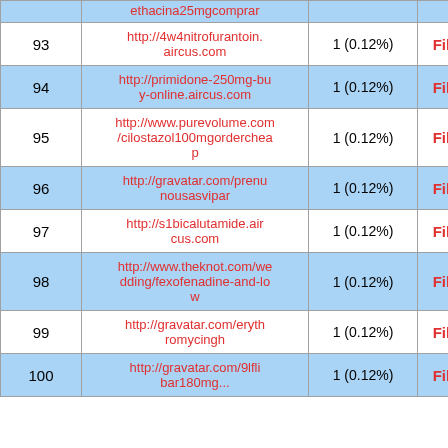| # | URL | Count | Action |
| --- | --- | --- | --- |
|  | ethacina25mgcomprar |  |  |
| 93 | http://4w4nitrofurantoin.aircus.com | 1 (0.12%) | Filter |
| 94 | http://primidone-250mg-buy-online.aircus.com | 1 (0.12%) | Filter |
| 95 | http://www.purevolume.com/cilostazol100mgordercheap | 1 (0.12%) | Filter |
| 96 | http://gravatar.com/prenunousasvipar | 1 (0.12%) | Filter |
| 97 | http://s1bicalutamide.aircus.com | 1 (0.12%) | Filter |
| 98 | http://www.theknot.com/wedding/fexofenadine-and-low | 1 (0.12%) | Filter |
| 99 | http://gravatar.com/erythromycingh | 1 (0.12%) | Filter |
| 100 | http://gravatar.com/9lflibar180mg... | 1 (0.12%) | Filter |